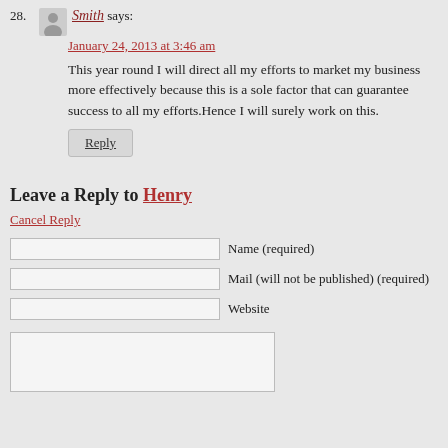28. Smith says: January 24, 2013 at 3:46 am
This year round I will direct all my efforts to market my business more effectively because this is a sole factor that can guarantee success to all my efforts.Hence I will surely work on this.
Reply
Leave a Reply to Henry
Cancel Reply
Name (required)
Mail (will not be published) (required)
Website